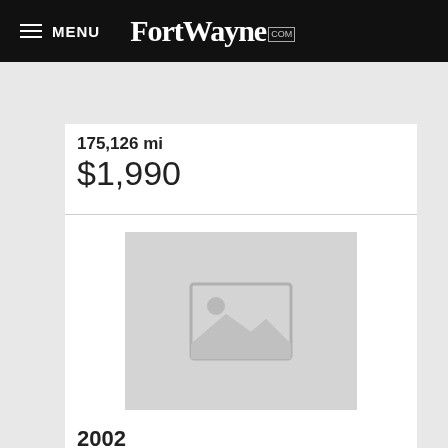MENU  FortWayne.com
175,126 mi
$1,990
[Figure (photo): Placeholder image for car listing — grey box with mountain/sun icon]
2002
Used
📷 5
Nissan Sentra
*Priced Below Market! ThisSentra will sell fast!* *This 2002 Nissan Sentra GXE* will sell fast *This Sentra has a very popular White exterior color with a Sand ...
Fort Wayne Toyota Kia Lexus